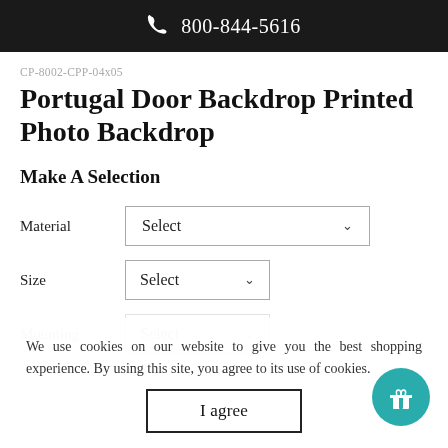800-844-5616
CP-8002-CPP-04x05
Portugal Door Backdrop Printed Photo Backdrop
Make A Selection
Material   Select
Size   Select
Mounting   Select
We use cookies on our website to give you the best shopping experience. By using this site, you agree to its use of cookies.
I agree